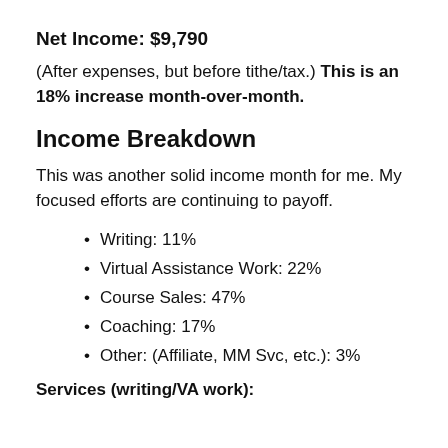Net Income: $9,790
(After expenses, but before tithe/tax.) This is an 18% increase month-over-month.
Income Breakdown
This was another solid income month for me. My focused efforts are continuing to payoff.
Writing: 11%
Virtual Assistance Work: 22%
Course Sales: 47%
Coaching: 17%
Other: (Affiliate, MM Svc, etc.): 3%
Services (writing/VA work):